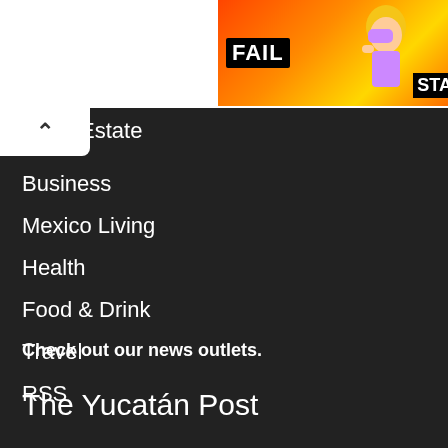[Figure (photo): Advertisement banner with FAIL text, animated character, flames, and STA text on orange/red background]
Estate
Business
Mexico Living
Health
Food & Drink
Travel
RSS
Check out our news outlets.
The Yucatán Post